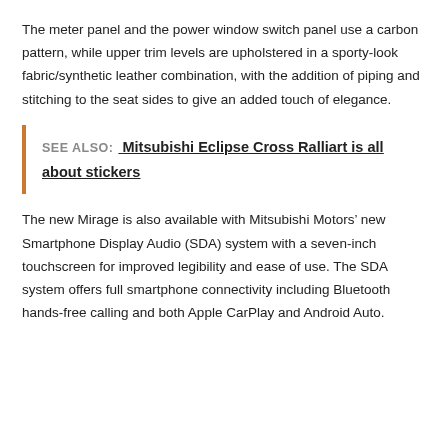The meter panel and the power window switch panel use a carbon pattern, while upper trim levels are upholstered in a sporty-look fabric/synthetic leather combination, with the addition of piping and stitching to the seat sides to give an added touch of elegance.
SEE ALSO: Mitsubishi Eclipse Cross Ralliart is all about stickers
The new Mirage is also available with Mitsubishi Motors’ new Smartphone Display Audio (SDA) system with a seven-inch touchscreen for improved legibility and ease of use. The SDA system offers full smartphone connectivity including Bluetooth hands-free calling and both Apple CarPlay and Android Auto.